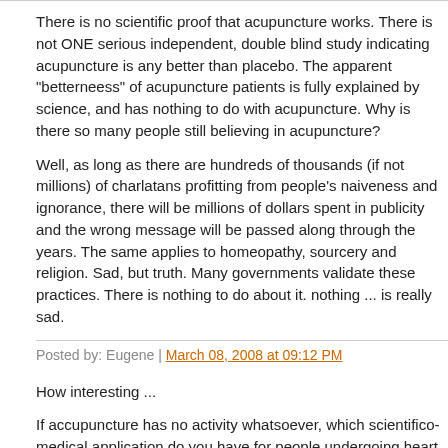There is no scientific proof that acupuncture works. There is not ONE serious independent, double blind study indicating acupuncture is any better than placebo. The apparent "betterneess" of acupuncture patients is fully explained by science, and has nothing to do with acupuncture. Why is there so many people still believing in acupuncture?
Well, as long as there are hundreds of thousands (if not millions) of charlatans profitting from people's naiveness and ignorance, there will be millions of dollars spent in publicity and the wrong message will be passed along through the years. The same applies to homeopathy, sourcery and religion. Sad, but truth. Many governments validate these practices. There is nothing to do about it. nothing ... is really sad.
Posted by: Eugene | March 08, 2008 at 09:12 PM
How interesting ...
If accupuncture has no activity whatsoever, which scientifico-medical application do you have for people undergoing heart surgery with no other anesthesia, accupuncture ? They have a high pain threshold ?
Accupuncture has already been proven in the early 1980's to stimulate the